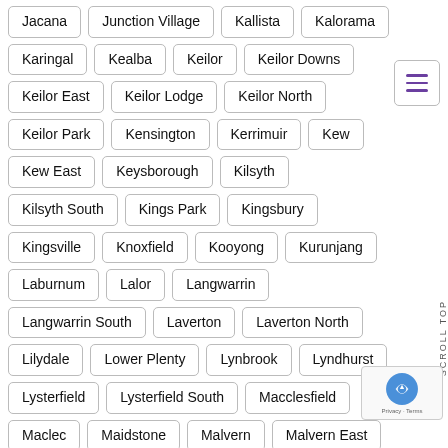Jacana
Junction Village
Kallista
Kalorama
Karingal
Kealba
Keilor
Keilor Downs
Keilor East
Keilor Lodge
Keilor North
Keilor Park
Kensington
Kerrimuir
Kew
Kew East
Keysborough
Kilsyth
Kilsyth South
Kings Park
Kingsbury
Kingsville
Knoxfield
Kooyong
Kurunjang
Laburnum
Lalor
Langwarrin
Langwarrin South
Laverton
Laverton North
Lilydale
Lower Plenty
Lynbrook
Lyndhurst
Lysterfield
Lysterfield South
Macclesfield
Macleod
Maidstone
Malvern
Malvern East
Maribyrnong
McGrae
McKinnon